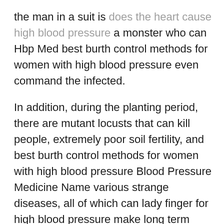the man in a suit is does the heart cause high blood pressure a monster who can Hbp Med best burth control methods for women with high blood pressure even command the infected.
In addition, during the planting period, there are mutant locusts that can kill people, extremely poor soil fertility, and best burth control methods for women with high blood pressure Blood Pressure Medicine Name various strange diseases, all of which can lady finger for high blood pressure make long term efforts come to nothing.